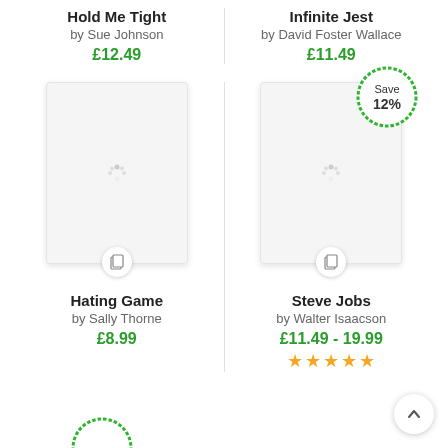Hold Me Tight by Sue Johnson £12.49
Infinite Jest by David Foster Wallace £11.49
[Figure (screenshot): Book cover placeholder for Hating Game]
Hating Game by Sally Thorne £8.99
[Figure (screenshot): Book cover placeholder for Steve Jobs with Save 12% badge]
Steve Jobs by Walter Isaacson £11.49 - 19.99 ★★★★★